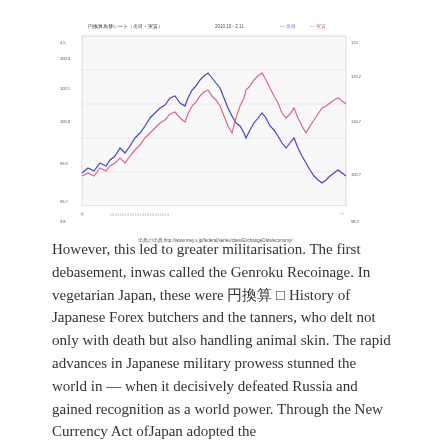[Figure (continuous-plot): Japanese Forex exchange rate chart (円換算為替レート) showing two line series (blue and pink/red) over time, with Japanese axis labels and legend. The chart shows fluctuating exchange rates with a general upward trend then decline.]
However, this led to greater militarisation. The first debasement, inwas called the Genroku Recoinage. In vegetarian Japan, these were 円換算 History of Japanese Forex butchers and the tanners, who delt not only with death but also handling animal skin. The rapid advances in Japanese military prowess stunned the world in — when it decisively defeated Russia and gained recognition as a world power. Through the New Currency Act ofJapan adopted the